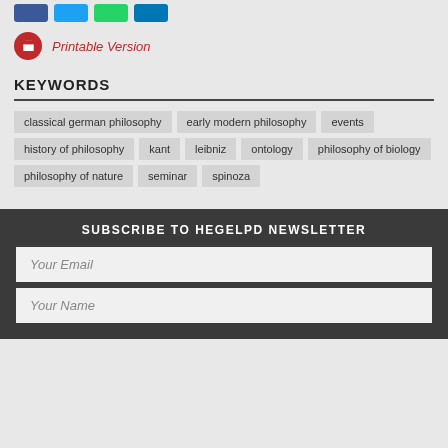[Figure (other): Social share buttons row (blue, light blue, green, dark blue)]
Printable Version
KEYWORDS
classical german philosophy
early modern philosophy
events
history of philosophy
kant
leibniz
ontology
philosophy of biology
philosophy of nature
seminar
spinoza
SUBSCRIBE TO HEGELPD NEWSLETTER
Your Email
Your Name